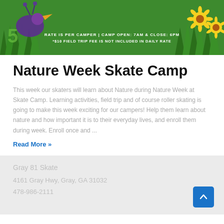[Figure (illustration): Green nature/grass themed banner with decorative elements including a bird/animal figure on the left, sunflowers on the right, and white text overlay showing camp rate and hours information.]
Nature Week Skate Camp
This week our skaters will learn about Nature during Nature Week at Skate Camp. Learning activities, field trip and of course roller skating is going to make this week exciting for our campers! Help them learn about nature and how important it is to their everyday lives, and enroll them during week. Enroll once and ...
Read More »
Gray 81 Skate
4161 Gray Hwy, Gray, GA 31032
478-986-2111